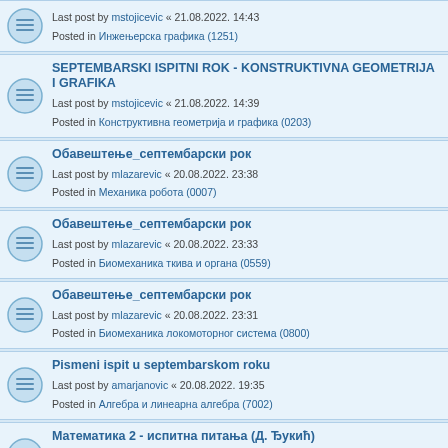Last post by mstojicevic « 21.08.2022. 14:43
Posted in Инжењерска графика (1251)
SEPTEMBARSKI ISPITNI ROK - KONSTRUKTIVNA GEOMETRIJA I GRAFIKA
Last post by mstojicevic « 21.08.2022. 14:39
Posted in Конструктивна геометрија и графика (0203)
Обавештење_септембарски рок
Last post by mlazarevic « 20.08.2022. 23:38
Posted in Механика робота (0007)
Обавештење_септембарски рок
Last post by mlazarevic « 20.08.2022. 23:33
Posted in Биомеханика ткива и органа (0559)
Обавештење_септембарски рок
Last post by mlazarevic « 20.08.2022. 23:31
Posted in Биомеханика локомоторног система (0800)
Pismeni ispit u septembarskom roku
Last post by amarjanovic « 20.08.2022. 19:35
Posted in Алгебра и линеарна алгебра (7002)
Математика 2 - испитна питања (Д. Ђукић)
Last post by ddjukic « 20.08.2022. 00:01
Posted in Математика 2 (0671)
Математика 3 - испитна питања (Д. Ђукић)
Last post by ddjukic « 19.08.2022. 01:34
Posted in Математика 3 (0672)
Дискретна математика - испитна питања
Last post by ddjukic « 18.08.2022. 12:40